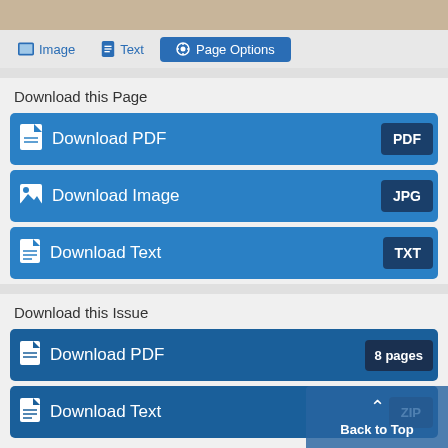[Figure (screenshot): Top portion of a scanned document page (brownish/tan color)]
Image   Text   Page Options
Download this Page
Download PDF  PDF
Download Image  JPG
Download Text  TXT
Download this Issue
Download PDF  8 pages
Download Text  ZIP
Back to Top